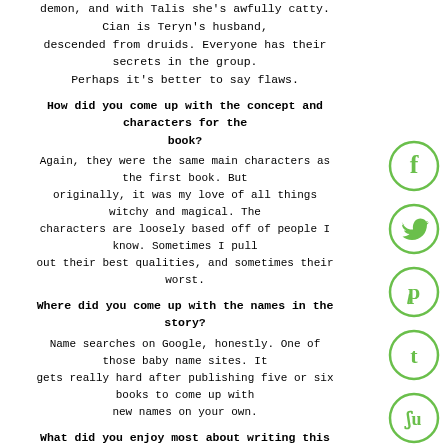demon, and with Talis she's awfully catty. Cian is Teryn's husband, descended from druids. Everyone has their secrets in the group. Perhaps it's better to say flaws.
How did you come up with the concept and characters for the book?
Again, they were the same main characters as the first book. But originally, it was my love of all things witchy and magical. The characters are loosely based off of people I know. Sometimes I pull out their best qualities, and sometimes their worst.
Where did you come up with the names in the story?
Name searches on Google, honestly. One of those baby name sites. It gets really hard after publishing five or six books to come up with new names on your own.
What did you enjoy most about writing this book?
There is a lot of humor in this book, and a lot of sex. Going back through it to look for excerpts was both hilarious and frustrating.
Tell us about your main characters- what makes them tick?
Talis has a horrible temper that he tries to keep in check. He's a bit controlling, but it's because the others made him the sole leader of the